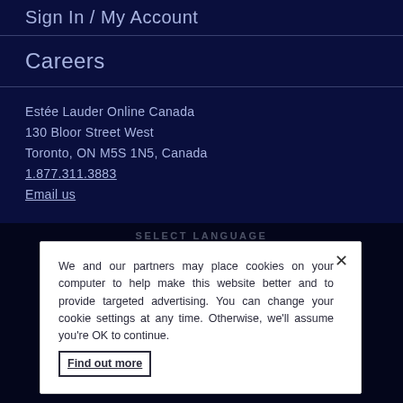Sign In / My Account
Careers
Estée Lauder Online Canada
130 Bloor Street West
Toronto, ON M5S 1N5, Canada
1.877.311.3883
Email us
SELECT LANGUAGE
English | Français
We and our partners may place cookies on your computer to help make this website better and to provide targeted advertising. You can change your cookie settings at any time. Otherwise, we'll assume you're OK to continue. Find out more